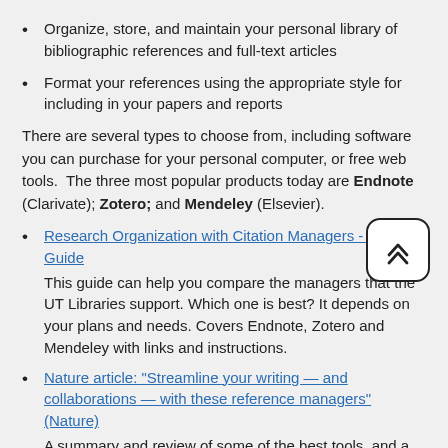Organize, store, and maintain your personal library of bibliographic references and full-text articles
Format your references using the appropriate style for including in your papers and reports
There are several types to choose from, including software you can purchase for your personal computer, or free web tools. The three most popular products today are Endnote (Clarivate); Zotero; and Mendeley (Elsevier).
Research Organization with Citation Managers - Library Guide
This guide can help you compare the managers that the UT Libraries support. Which one is best? It depends on your plans and needs. Covers Endnote, Zotero and Mendeley with links and instructions.
Nature article: "Streamline your writing — and collaborations — with these reference managers" (Nature)
A summary and review of some of the best tools, and a handy comparison table.